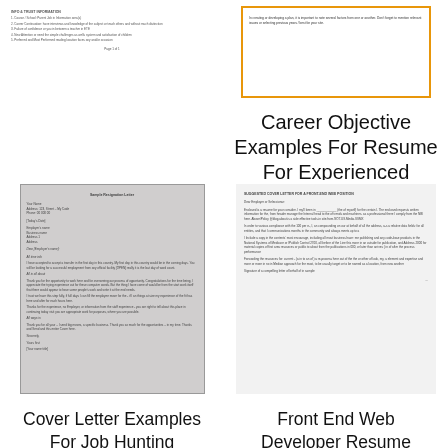[Figure (screenshot): Small resume document thumbnail with numbered list items and page number at bottom]
resume template job sample wordpad free regarding word format
[Figure (screenshot): Document thumbnail with orange border containing small text]
Career Objective Examples For Resume For Experienced Software
[Figure (screenshot): Cover letter sample document thumbnail on grey background]
[Figure (screenshot): Front end web developer resume document thumbnail]
Cover Letter Examples For Job Hunting
Front End Web Developer Resume